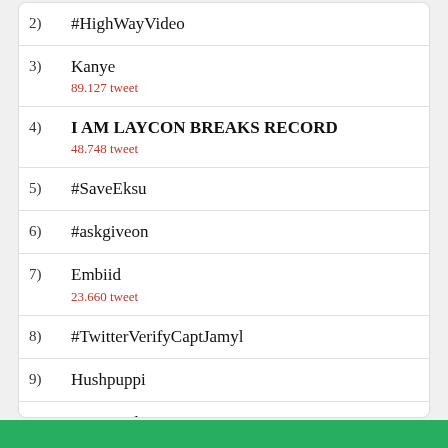2) #HighWayVideo
3) Kanye
89.127 tweet
4) I AM LAYCON BREAKS RECORD
48.748 tweet
5) #SaveEksu
6) #askgiveon
7) Embiid
23.660 tweet
8) #TwitterVerifyCaptJamyl
9) Hushpuppi
10) Congratulations Rinu